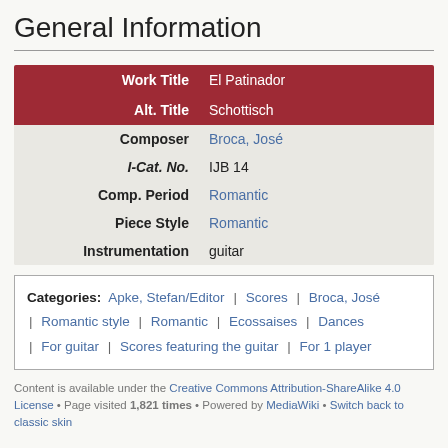General Information
| Field | Value |
| --- | --- |
| Work Title | El Patinador |
| Alt. Title | Schottisch |
| Composer | Broca, José |
| I-Cat. No. | IJB 14 |
| Comp. Period | Romantic |
| Piece Style | Romantic |
| Instrumentation | guitar |
Categories: Apke, Stefan/Editor | Scores | Broca, José | Romantic style | Romantic | Ecossaises | Dances | For guitar | Scores featuring the guitar | For 1 player
Content is available under the Creative Commons Attribution-ShareAlike 4.0 License • Page visited 1,821 times • Powered by MediaWiki • Switch back to classic skin